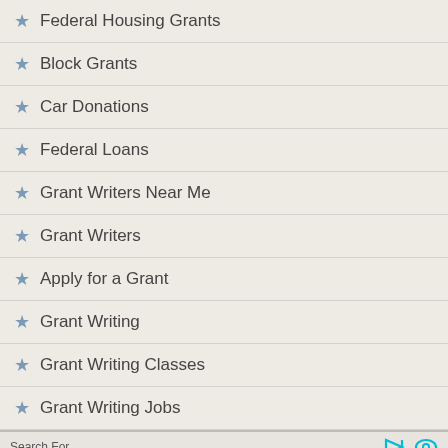Federal Housing Grants
Block Grants
Car Donations
Federal Loans
Grant Writers Near Me
Grant Writers
Apply for a Grant
Grant Writing
Grant Writing Classes
Grant Writing Jobs
Search For
1)  2022 Grants Available
2)  Startup Business Grants